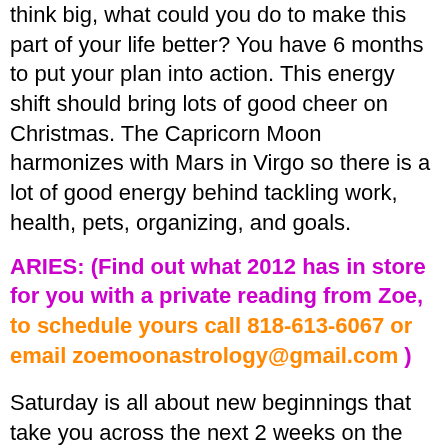think big, what could you do to make this part of your life better? You have 6 months to put your plan into action. This energy shift should bring lots of good cheer on Christmas. The Capricorn Moon harmonizes with Mars in Virgo so there is a lot of good energy behind tackling work, health, pets, organizing, and goals.
ARIES: (Find out what 2012 has in store for you with a private reading from Zoe, to schedule yours call 818-613-6067 or email zoemoonastrology@gmail.com )
Saturday is all about new beginnings that take you across the next 2 weeks on the career front, with authority figures, dad, bosses, ambitions, goals, reputation, and/or fame. Begin to set your intention on what you wish to achieve. The connection to Pluto means something powerful and transformational is